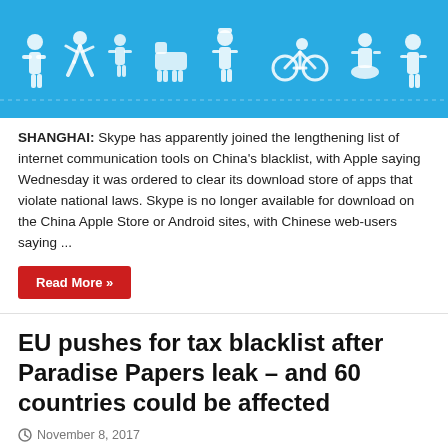[Figure (illustration): Blue banner image with white silhouette icons of people and activities on a blue background]
SHANGHAI: Skype has apparently joined the lengthening list of internet communication tools on China's blacklist, with Apple saying Wednesday it was ordered to clear its download store of apps that violate national laws. Skype is no longer available for download on the China Apple Store or Android sites, with Chinese web-users saying ...
Read More »
EU pushes for tax blacklist after Paradise Papers leak – and 60 countries could be affected
November 8, 2017
[Figure (photo): Dark photo showing a person (appears to be a man in a suit) against a black background, partially visible at the bottom of the page]